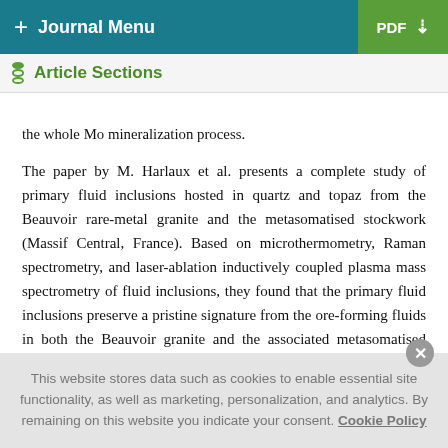+ Journal Menu   PDF ↓
Article Sections
…the whole Mo mineralization process.
The paper by M. Harlaux et al. presents a complete study of primary fluid inclusions hosted in quartz and topaz from the Beauvoir rare-metal granite and the metasomatised stockwork (Massif Central, France). Based on microthermometry, Raman spectrometry, and laser-ablation inductively coupled plasma mass spectrometry of fluid inclusions, they found that the primary fluid inclusions preserve a pristine signature from the ore-forming fluids in both the Beauvoir granite and the associated metasomatised stockwork.
This website stores data such as cookies to enable essential site functionality, as well as marketing, personalization, and analytics. By remaining on this website you indicate your consent. Cookie Policy